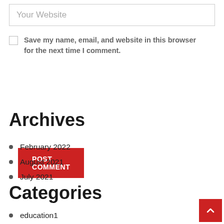Your Website
Save my name, email, and website in this browser for the next time I comment.
POST COMMENT
Archives
February 2022
August 2021
July 2021
Categories
education1